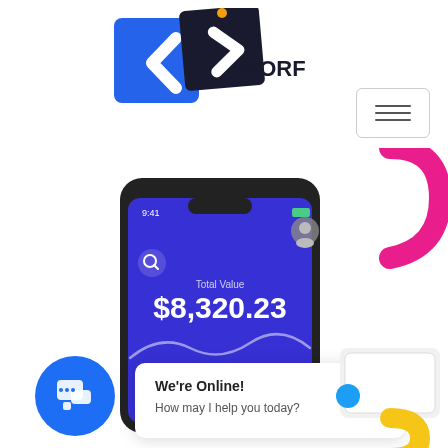[Figure (logo): WORF logo with two overlapping arrow/chevron shapes in blue and dark navy, with the text WORF to the right]
[Figure (screenshot): Mobile phone screen showing a financial app with Total Value of $8,320.23 on a blue background, with a chat widget showing 'We're Online! How may I help you today?' and a blue circular chat icon. A hand holding a card is partially visible in the bottom right. A pink curved shape and a small blue dot and yellow arc are visible as decorative elements.]